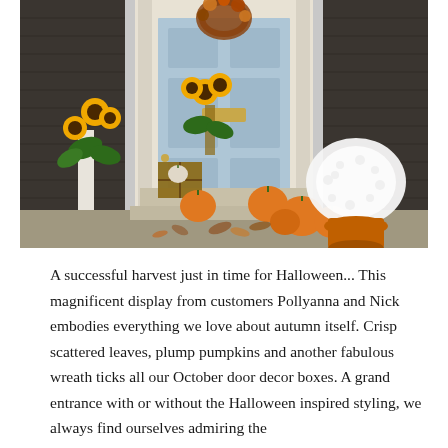[Figure (photo): A decorated front porch with a light blue door adorned with an autumn/harvest wreath. The doorstep is styled with orange pumpkins of various sizes, sunflowers in pots and arrangements, white chrysanthemum plants, a wooden crate, and scattered autumn leaves on the ground.]
A successful harvest just in time for Halloween... This magnificent display from customers Pollyanna and Nick embodies everything we love about autumn itself. Crisp scattered leaves, plump pumpkins and another fabulous wreath ticks all our October door decor boxes. A grand entrance with or without the Halloween inspired styling, we always find ourselves admiring the